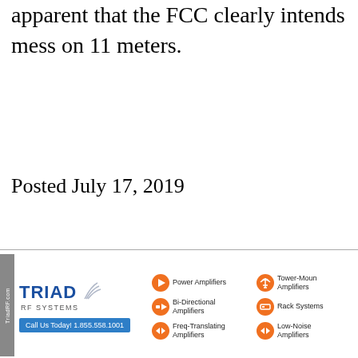apparent that the FCC clearly intends mess on 11 meters.
Posted July 17, 2019
[Figure (illustration): Triad RF Systems advertisement banner showing logo, phone number 1.855.558.1001, and product categories: Power Amplifiers, Bi-Directional Amplifiers, Freq-Translating Amplifiers, Tower-Mounted Amplifiers, Rack Systems, Low-Noise Amplifiers]